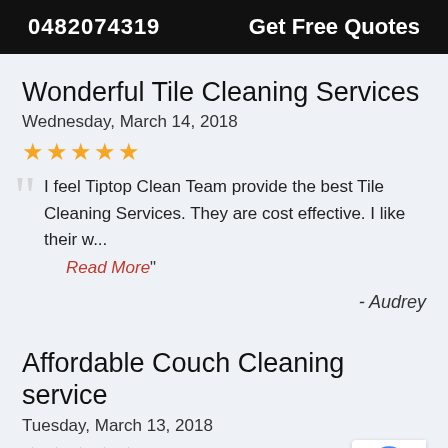0482074319   Get Free Quotes
Wonderful Tile Cleaning Services
Wednesday, March 14, 2018
★★★★★
"I feel Tiptop Clean Team provide the best Tile Cleaning Services. They are cost effective. I like their w... Read More"
- Audrey
Affordable Couch Cleaning service
Tuesday, March 13, 2018
★★★★★